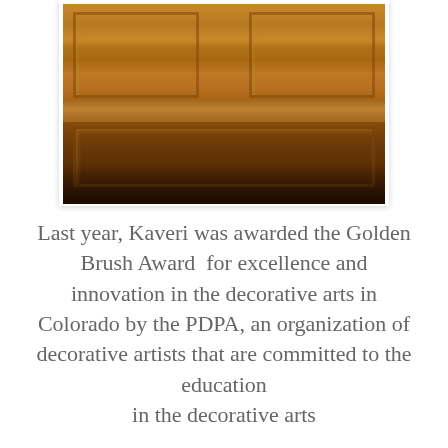[Figure (photo): Photo of a decorative carved wooden door or cabinet panel with ornate raised panel molding in warm brown/oak tones. The image shows geometric panel designs on the upper portion and a horizontal rail, photographed in dim lighting.]
Last year, Kaveri was awarded the Golden Brush Award  for excellence and innovation in the decorative arts in Colorado by the PDPA, an organization of decorative artists that are committed to the education in the decorative arts